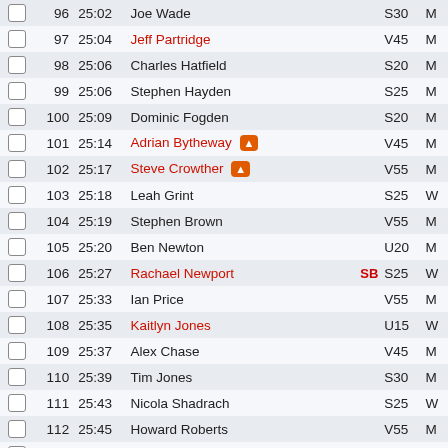|  | Pos | Time | Name | SB | Cat | Gen |
| --- | --- | --- | --- | --- | --- | --- |
|  | 96 | 25:02 | Joe Wade |  | S30 | M |
|  | 97 | 25:04 | Jeff Partridge |  | V45 | M |
|  | 98 | 25:06 | Charles Hatfield |  | S20 | M |
|  | 99 | 25:06 | Stephen Hayden |  | S25 | M |
|  | 100 | 25:09 | Dominic Fogden |  | S20 | M |
|  | 101 | 25:14 | Adrian Bytheway 🔥 |  | V45 | M |
|  | 102 | 25:17 | Steve Crowther 🔥 |  | V55 | M |
|  | 103 | 25:18 | Leah Grint |  | S25 | W |
|  | 104 | 25:19 | Stephen Brown |  | V55 | M |
|  | 105 | 25:20 | Ben Newton |  | U20 | M |
|  | 106 | 25:27 | Rachael Newport | SB | S25 | W |
|  | 107 | 25:33 | Ian Price |  | V55 | M |
|  | 108 | 25:35 | Kaitlyn Jones |  | U15 | W |
|  | 109 | 25:37 | Alex Chase |  | V45 | M |
|  | 110 | 25:39 | Tim Jones |  | S30 | M |
|  | 111 | 25:43 | Nicola Shadrach |  | S25 | W |
|  | 112 | 25:45 | Howard Roberts |  | V55 | M |
|  | 113 | 25:47 | Maxwell Rowe-Haynes |  | V35 | M |
|  | 114 | 25:51 | Unknown Athlete |  | SEN | M |